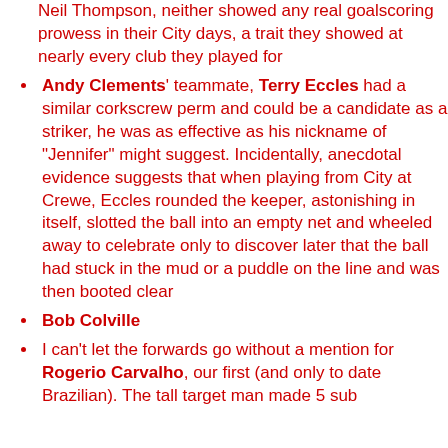Neil Thompson, neither showed any real goalscoring prowess in their City days, a trait they showed at nearly every club they played for
Andy Clements' teammate, Terry Eccles had a similar corkscrew perm and could be a candidate as a striker, he was as effective as his nickname of "Jennifer" might suggest. Incidentally, anecdotal evidence suggests that when playing from City at Crewe, Eccles rounded the keeper, astonishing in itself, slotted the ball into an empty net and wheeled away to celebrate only to discover later that the ball had stuck in the mud or a puddle on the line and was then booted clear
Bob Colville
I can't let the forwards go without a mention for Rogerio Carvalho, our first (and only to date Brazilian). The tall target man made 5 sub